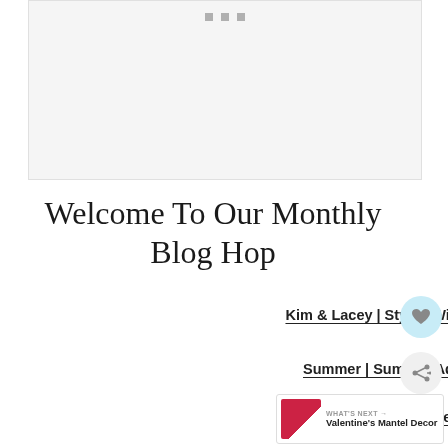[Figure (photo): Image placeholder with three navigation dots at top center, light gray background]
Welcome To Our Monthly Blog Hop
Kim & Lacey | Styled With Lace
Summer | Summer Adams
Janine | Happy Happy Nester
Amie | Meme Hill